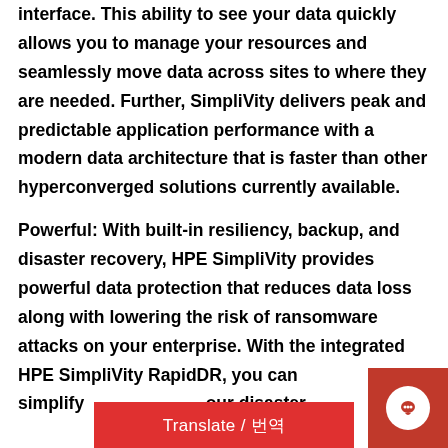interface. This ability to see your data quickly allows you to manage your resources and seamlessly move data across sites to where they are needed. Further, SimpliVity delivers peak and predictable application performance with a modern data architecture that is faster than other hyperconverged solutions currently available.
Powerful: With built-in resiliency, backup, and disaster recovery, HPE SimpliVity provides powerful data protection that reduces data loss along with lowering the risk of ransomware attacks on your enterprise. With the integrated HPE SimpliVity RapidDR, you can simplify [Translate / 번역] our disaster